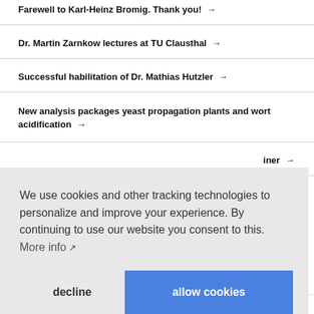Farewell to Karl-Heinz Bromig. Thank you! →
Dr. Martin Zarnkow lectures at TU Clausthal →
Successful habilitation of Dr. Mathias Hutzler →
New analysis packages yeast propagation plants and wort acidification →
…iner →
We use cookies and other tracking technologies to personalize and improve your experience. By continuing to use our website you consent to this. More info ↗
decline | allow cookies
»Wurde da hinten abseits Bier gebraut!« →